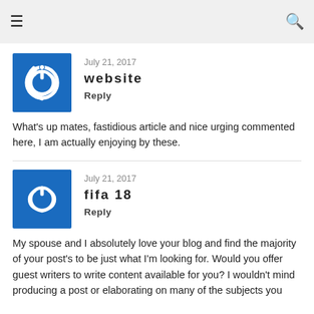☰  🔍
July 21, 2017
website
Reply
What's up mates, fastidious article and nice urging commented here, I am actually enjoying by these.
July 21, 2017
fifa 18
Reply
My spouse and I absolutely love your blog and find the majority of your post's to be just what I'm looking for. Would you offer guest writers to write content available for you? I wouldn't mind producing a post or elaborating on many of the subjects you